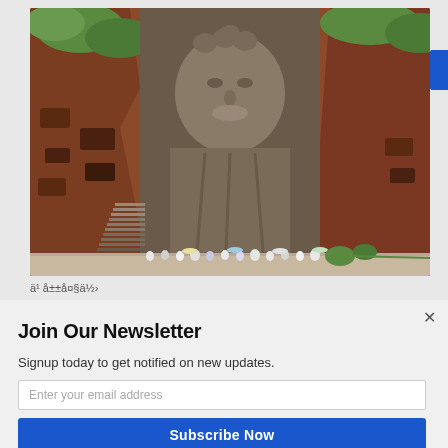[Figure (photo): Large Buddha statue carved into a cliff face (Leshan Giant Buddha, China), with crowds of tourists visible at the base along a walkway. The cliff walls are reddish-brown rock with green vegetation. The Buddha's head and torso are visible in the center.]
ä¹ å±±å¤§ä½›
Join Our Newsletter
Signup today to get notified on new updates.
Enter your email address
Subscribe Now